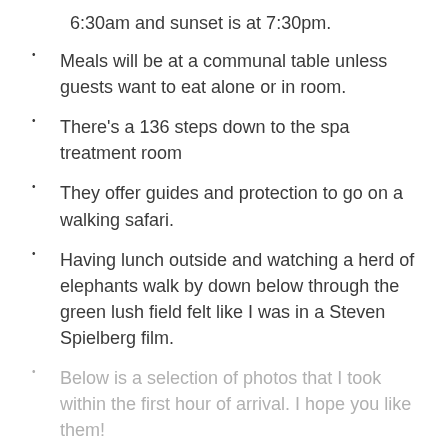6:30am and sunset is at 7:30pm.
Meals will be at a communal table unless guests want to eat alone or in room.
There's a 136 steps down to the spa treatment room
They offer guides and protection to go on a walking safari.
Having lunch outside and watching a herd of elephants walk by down below through the green lush field felt like I was in a Steven Spielberg film.
Below is a selection of photos that I took within the first hour of arrival. I hope you like them!